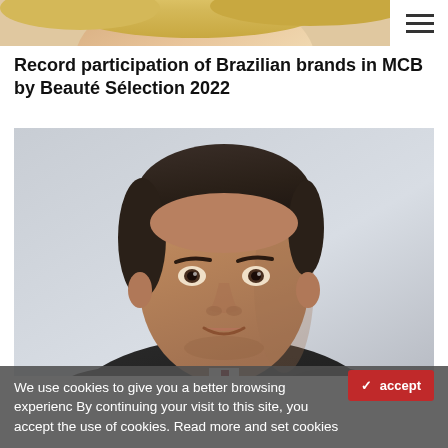[Figure (photo): Partial image of a person with blonde hair, cropped at top of page]
Record participation of Brazilian brands in MCB by Beauté Sélection 2022
[Figure (photo): Professional headshot portrait of a man in a dark suit with short dark hair, light grey background]
We use cookies to give you a better browsing experience. By continuing your visit to this site, you accept the use of cookies. Read more and set cookies